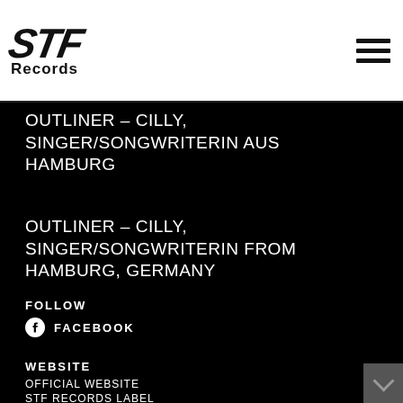[Figure (logo): STF Records logo — italic bold 'STF' text with 'Records' underneath]
OUTLINER – CILLY, SINGER/SONGWRITERIN AUS HAMBURG
OUTLINER – CILLY, SINGER/SONGWRITERIN FROM HAMBURG, GERMANY
FOLLOW
FACEBOOK
WEBSITE
OFFICIAL WEBSITE
STF RECORDS LABEL